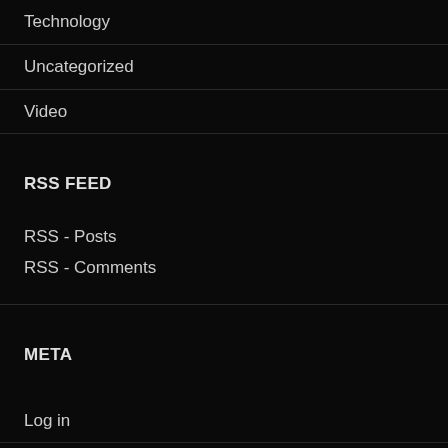Technology
Uncategorized
Video
RSS FEED
RSS - Posts
RSS - Comments
META
Log in
Entries RSS